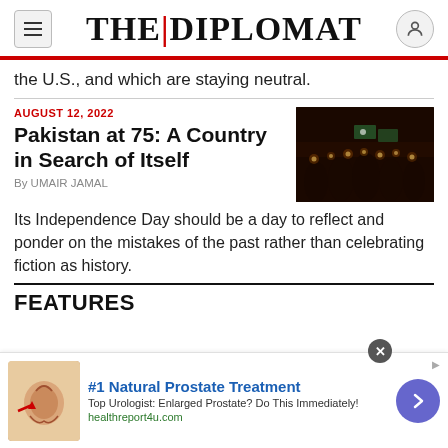THE DIPLOMAT
the U.S., and which are staying neutral.
AUGUST 12, 2022
Pakistan at 75: A Country in Search of Itself
By UMAIR JAMAL
[Figure (photo): Dark image of people holding candles with Pakistani flags in background]
Its Independence Day should be a day to reflect and ponder on the mistakes of the past rather than celebrating fiction as history.
FEATURES
[Figure (other): Advertisement: #1 Natural Prostate Treatment - Top Urologist: Enlarged Prostate? Do This Immediately! healthreport4u.com]